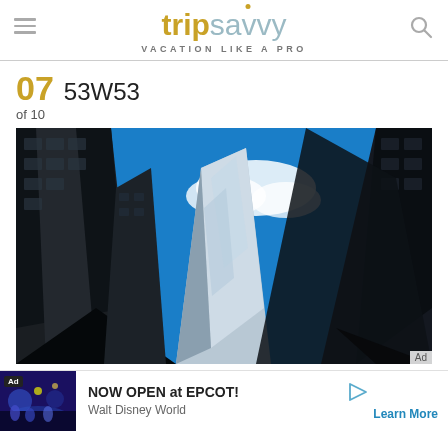tripsavvy VACATION LIKE A PRO
07  53W53
of 10
[Figure (photo): Upward-looking photograph of tall skyscrapers against a vivid blue sky with white clouds, including a distinctive modern glass tower in the center.]
Ad
NOW OPEN at EPCOT! Walt Disney World  Learn More